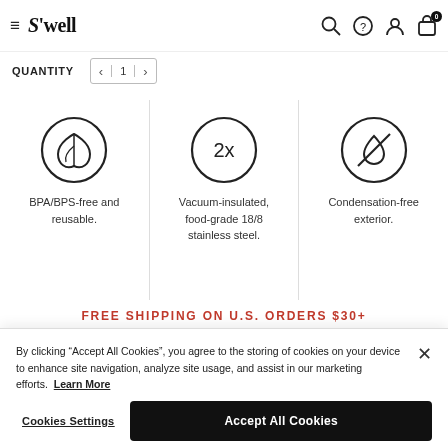S'well
QUANTITY
[Figure (other): Leaf circle icon — BPA/BPS-free]
BPA/BPS-free and reusable.
[Figure (other): 2x circle icon — Vacuum insulated]
Vacuum-insulated, food-grade 18/8 stainless steel.
[Figure (other): Water drop with line-through circle icon — Condensation-free]
Condensation-free exterior.
FREE SHIPPING ON U.S. ORDERS $30+
By clicking "Accept All Cookies", you agree to the storing of cookies on your device to enhance site navigation, analyze site usage, and assist in our marketing efforts. Learn More